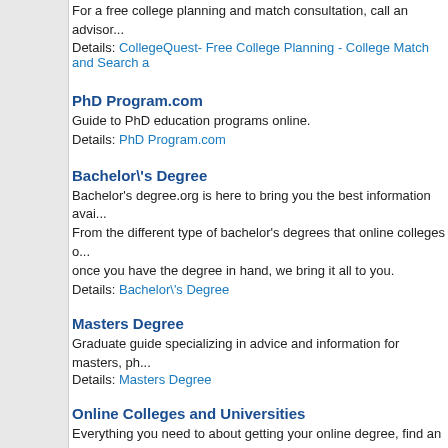For a free college planning and match consultation, call an advisor. Details: CollegeQuest- Free College Planning - College Match and Search a
PhD Program.com
Guide to PhD education programs online.
Details: PhD Program.com
Bachelor\'s Degree
Bachelor's degree.org is here to bring you the best information avai... From the different type of bachelor's degrees that online colleges o... once you have the degree in hand, we bring it all to you.
Details: Bachelor\'s Degree
Masters Degree
Graduate guide specializing in advice and information for masters, ph...
Details: Masters Degree
Online Colleges and Universities
Everything you need to about getting your online degree, find an onli...
Details: Online Colleges and Universities
Online MBA Degree
Provide helpful information on business, business tips and more.
Details: Online MBA Degree